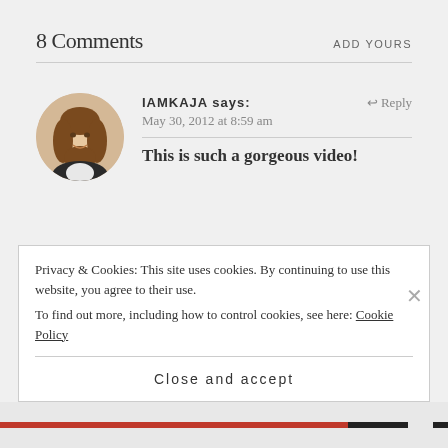8 Comments
ADD YOURS
[Figure (photo): Circular avatar photo of a young woman with long wavy brown hair, smiling, wearing a dark jacket]
IAMKAJA says:
↩ Reply
May 30, 2012 at 8:59 am
This is such a gorgeous video!
Privacy & Cookies: This site uses cookies. By continuing to use this website, you agree to their use.
To find out more, including how to control cookies, see here: Cookie Policy
Close and accept